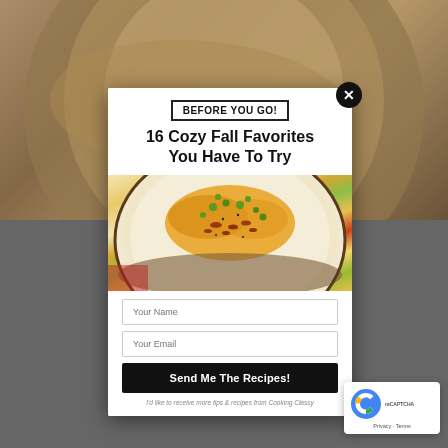[Figure (screenshot): Background showing a blurred overhead view of a bowl with swirled batter or dip, dark gray overlay around the edges]
BEFORE YOU GO!
16 Cozy Fall Favorites You Have To Try
[Figure (photo): A bowl of creamy potato soup topped with shredded cheddar cheese, crumbled bacon, and chopped green onions]
Your Name
Your Email
Send Me The Recipes!
I'd like to receive more tips & recipes from Cooking Classy
[Figure (logo): Google reCAPTCHA badge with Privacy and Terms links]